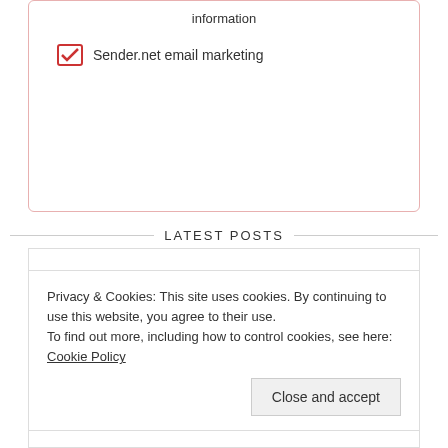information
Sender.net email marketing
LATEST POSTS
Privacy & Cookies: This site uses cookies. By continuing to use this website, you agree to their use.
To find out more, including how to control cookies, see here: Cookie Policy
Close and accept